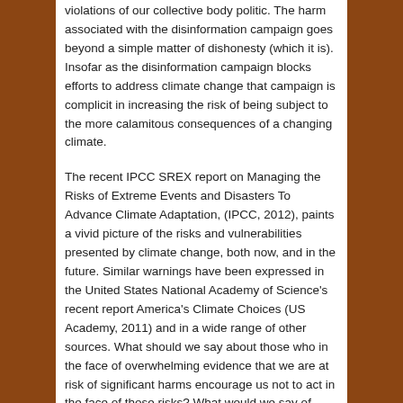violations of our collective body politic. The harm associated with the disinformation campaign goes beyond a simple matter of dishonesty (which it is). Insofar as the disinformation campaign blocks efforts to address climate change that campaign is complicit in increasing the risk of being subject to the more calamitous consequences of a changing climate.
The recent IPCC SREX report on Managing the Risks of Extreme Events and Disasters To Advance Climate Adaptation, (IPCC, 2012), paints a vivid picture of the risks and vulnerabilities presented by climate change, both now, and in the future. Similar warnings have been expressed in the United States National Academy of Science's recent report America's Climate Choices (US Academy, 2011) and in a wide range of other sources. What should we say about those who in the face of overwhelming evidence that we are at risk of significant harms encourage us not to act in the face of those risks? What would we say of those who convince us that an impending flood is not real, and hamper our efforts to prepare for, or minimize the effects of that flood?